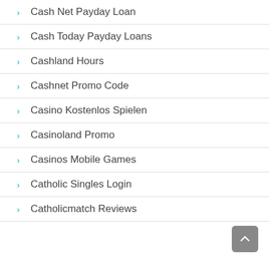Cash Net Payday Loan
Cash Today Payday Loans
Cashland Hours
Cashnet Promo Code
Casino Kostenlos Spielen
Casinoland Promo
Casinos Mobile Games
Catholic Singles Login
Catholicmatch Reviews